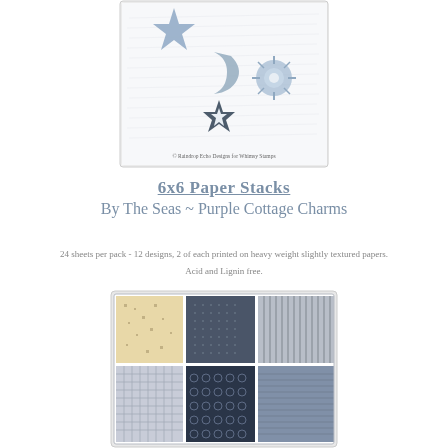[Figure (illustration): Product image showing celestial stamp designs - stars, moon, sun on white background with script text, copyright Raindrop Echo Designs for Whimsy Stamps]
6x6 Paper Stacks
By The Seas ~ Purple Cottage Charms
24 sheets per pack - 12 designs, 2 of each printed on heavy weight slightly textured papers.
Acid and Lignin free.
[Figure (photo): Grid of 6 paper pattern samples showing nautical/coastal designs in navy, grey, and tan/cream colors - patterns include anchor motifs, dots, stripes, nets, and floral designs]